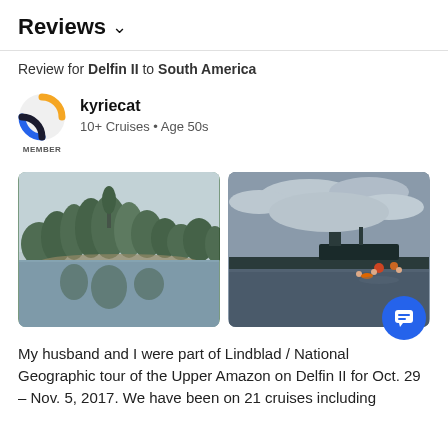Reviews ∨
Review for Delfin II to South America
kyriecat
10+ Cruises • Age 50s
[Figure (photo): Left photo: misty river scene with trees reflecting on calm water. Right photo: people swimming near a boat on a dark river under cloudy sky.]
My husband and I were part of Lindblad / National Geographic tour of the Upper Amazon on Delfin II for Oct. 29 – Nov. 5, 2017. We have been on 21 cruises including...